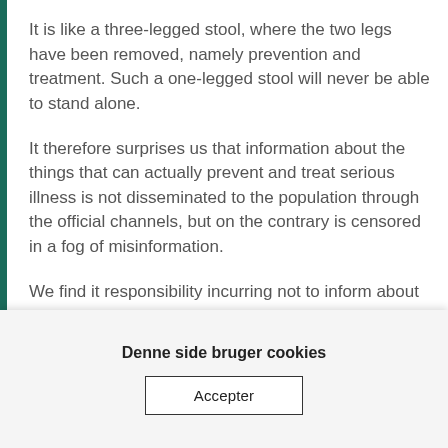It is like a three-legged stool, where the two legs have been removed, namely prevention and treatment. Such a one-legged stool will never be able to stand alone.
It therefore surprises us that information about the things that can actually prevent and treat serious illness is not disseminated to the population through the official channels, but on the contrary is censored in a fog of misinformation.
We find it responsibility incurring not to inform about thi...
Denne side bruger cookies
Accepter